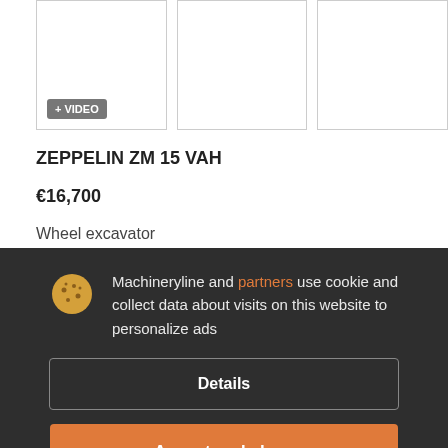[Figure (photo): Three image thumbnail placeholders for the vehicle listing; the first has a '+ VIDEO' badge overlay]
ZEPPELIN ZM 15 VAH
€16,700
Wheel excavator
Year: 1993  Mileage: 8769 m/h
Machineryline and partners use cookie and collect data about visits on this website to personalize ads
Details
Accept and close